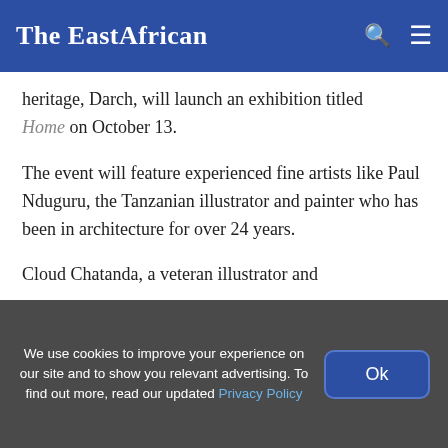The EastAfrican
heritage, Darch, will launch an exhibition titled Home on October 13.
The event will feature experienced fine artists like Paul Nduguru, the Tanzanian illustrator and painter who has been in architecture for over 24 years.
Cloud Chatanda, a veteran illustrator and
We use cookies to improve your experience on our site and to show you relevant advertising. To find out more, read our updated Privacy Policy